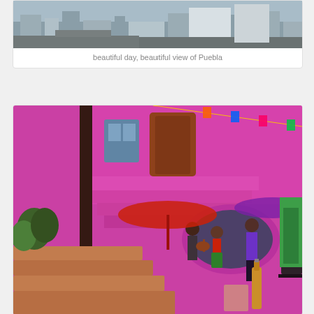[Figure (photo): Aerial/rooftop view of Puebla city on a beautiful day, showing urban cityscape with buildings and rooftops.]
beautiful day, beautiful view of Puebla
[Figure (photo): A vibrant pink courtyard restaurant or market in Puebla with a bronze statue in the foreground, colorful papel picado banners, musicians playing guitar, people dining and walking, and multiple levels of pink staircase architecture.]